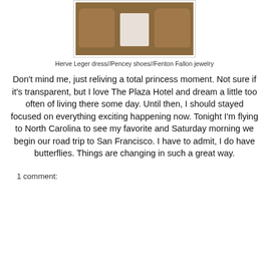[Figure (photo): A brown upholstered couch/chair with cushions and a white pillow visible between them, photographed from above or at an angle.]
Herve Leger dress//Pencey shoes//Fenton Fallon jewelry
Don't mind me, just reliving a total princess moment. Not sure if it's transparent, but I love The Plaza Hotel and dream a little too often of living there some day. Until then, I should stayed focused on everything exciting happening now. Tonight I'm flying to North Carolina to see my favorite and Saturday morning we begin our road trip to San Francisco. I have to admit, I do have butterflies. Things are changing in such a great way.
1 comment: